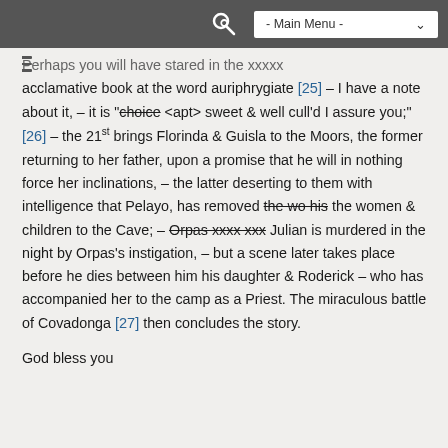- Main Menu -
Perhaps you will have stared in the xxxxx acclamative book at the word auriphrygiate [25] – I have a note about it, – it is ~~choice~~ <apt> sweet & well cull'd I assure you;" [26] – the 21st brings Florinda & Guisla to the Moors, the former returning to her father, upon a promise that he will in nothing force her inclinations, – the latter deserting to them with intelligence that Pelayo, has removed ~~the wo his~~ the women & children to the Cave; – ~~Orpas xxxx xxx~~ Julian is murdered in the night by Orpas's instigation, – but a scene later takes place before he dies between him his daughter & Roderick – who has accompanied her to the camp as a Priest. The miraculous battle of Covadonga [27] then concludes the story.
God bless you